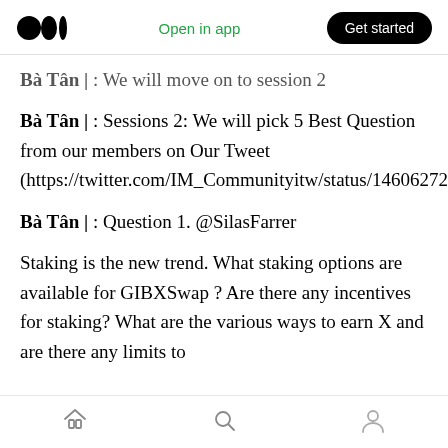Medium logo | Open in app | Get started
Bà Tân | : We will move on to session 2
Bà Tân | : Sessions 2: We will pick 5 Best Question from our members on Our Tweet (https://twitter.com/IM_Communityitw/status/1460627290677673987).
Bà Tân | : Question 1. @SilasFarrer
Staking is the new trend. What staking options are available for GIBXSwap ? Are there any incentives for staking? What are the various ways to earn X and are there any limits to
Home | Search | Profile